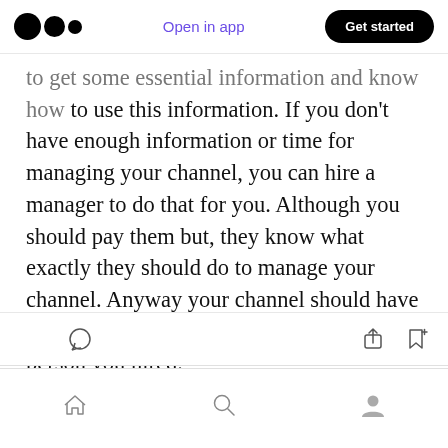Open in app | Get started
to get some essential information and know how to use this information. If you don't have enough information or time for managing your channel, you can hire a manager to do that for you. Although you should pay them but, they know what exactly they should do to manage your channel. Anyway your channel should have a manager and it can be you or it can be the person you hired.
[action icons: clap, comment, share, bookmark] [bottom nav: home, search, profile]